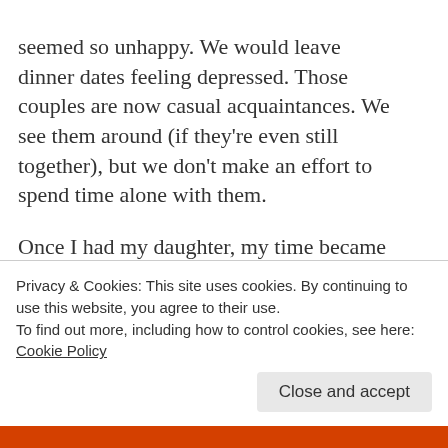seemed so unhappy. We would leave dinner dates feeling depressed. Those couples are now casual acquaintances. We see them around (if they're even still together), but we don't make an effort to spend time alone with them.

Once I had my daughter, my time became even more precious. I realized I had friends who only brought drama, friends who asked for advice but never took it, friends who only talked about themselves, friends who never had anything positive to say, and friends who made plans and always broke them. When certain friends called, I
Privacy & Cookies: This site uses cookies. By continuing to use this website, you agree to their use.
To find out more, including how to control cookies, see here: Cookie Policy